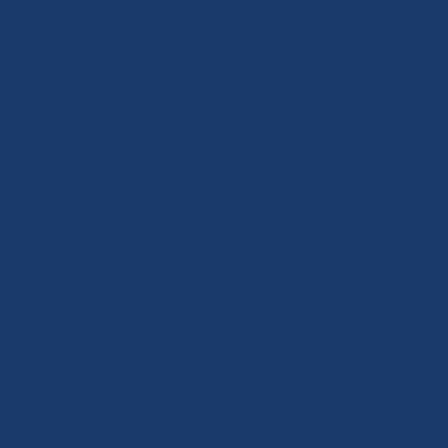after the change of government. The project will be